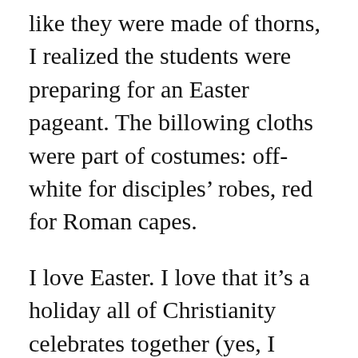like they were made of thorns, I realized the students were preparing for an Easter pageant. The billowing cloths were part of costumes: off-white for disciples' robes, red for Roman capes.
I love Easter. I love that it's a holiday all of Christianity celebrates together (yes, I know Orthodox Christians celebrate Easter a week or two after the rest of us–but they still celebrate it with us). There is nothing better than remembering the miracle of the Savior's life. His story goes on and His